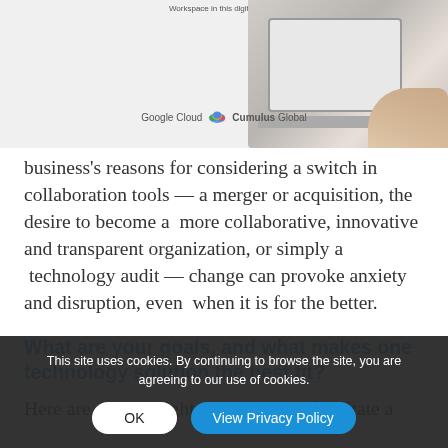[Figure (photo): Photo of a laptop on a desk with a person's hand visible, with Google Cloud and Cumulus Global logos below it, and a caption about Workspace digital guide at the top.]
business's reasons for considering a switch in collaboration tools — a merger or acquisition, the desire to become a  more collaborative, innovative and transparent organization, or simply a  technology audit — change can provoke anxiety and disruption, even  when it is for the better.
What are your goals, and what makes one technology solution the best fit?
Here are some insights that can help facilitate a smooth transition to new workplace productivity tools at all stages, with specifics on Google Workspace from decision-making to management to upkeep.
This site uses cookies. By continuing to browse the site, you are agreeing to our use of cookies.